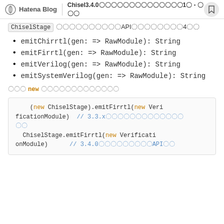Hatena Blog | Chisel3.4.0〇〇〇〇〇〇〇〇〇〇〇1〇 - 〇〇〇
ChiselStage 〇〇〇〇〇〇〇〇〇〇API〇〇〇〇〇〇〇〇4〇〇
emitChirrtl(gen: => RawModule): String
emitFirrtl(gen: => RawModule): String
emitVerilog(gen: => RawModule): String
emitSystemVerilog(gen: => RawModule): String
〇〇〇 new 〇〇〇〇〇〇〇〇〇〇〇〇〇
(new ChiselStage).emitFirrtl(new VerificationModule)  // 3.3.x〇〇〇〇〇〇〇〇〇〇〇〇〇〇
  ChiselStage.emitFirrtl(new VerificationModule)      // 3.4.0〇〇〇〇〇〇〇〇API〇〇